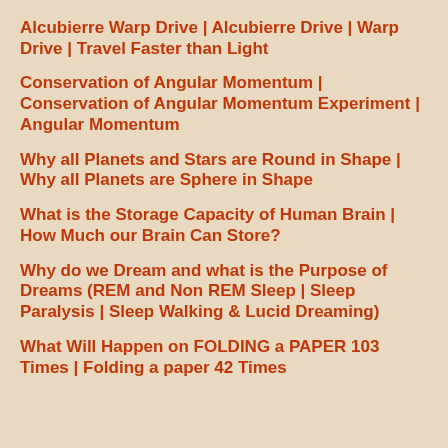Alcubierre Warp Drive | Alcubierre Drive | Warp Drive | Travel Faster than Light
Conservation of Angular Momentum | Conservation of Angular Momentum Experiment | Angular Momentum
Why all Planets and Stars are Round in Shape | Why all Planets are Sphere in Shape
What is the Storage Capacity of Human Brain | How Much our Brain Can Store?
Why do we Dream and what is the Purpose of Dreams (REM and Non REM Sleep | Sleep Paralysis | Sleep Walking & Lucid Dreaming)
What Will Happen on FOLDING a PAPER 103 Times | Folding a paper 42 Times